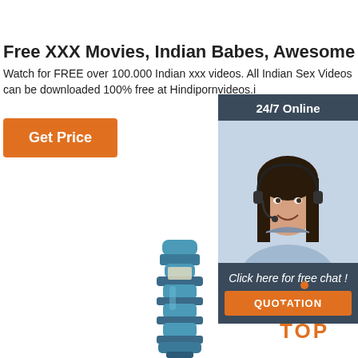Free XXX Movies, Indian Babes, Awesome Indian Porn
Watch for FREE over 100.000 Indian xxx videos. All Indian Sex Videos can be downloaded 100% free at Hindipornvideos.i
[Figure (screenshot): Orange 'Get Price' button]
[Figure (photo): Customer support widget with woman wearing headset, '24/7 Online' header, 'Click here for free chat!' text, and orange 'QUOTATION' button]
[Figure (photo): Blue vertical submersible pump product photo]
[Figure (logo): Orange 'TOP' badge with dot triangle above text]